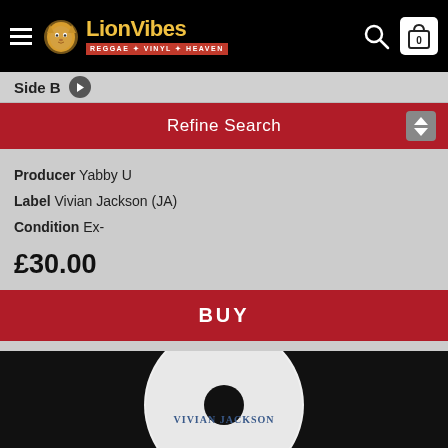[Figure (logo): LionVibes logo with lion icon, gold text 'LionVibes', and red banner reading 'REGGAE * VINYL * HEAVEN'. Black navigation bar with hamburger menu, search icon, and cart icon showing 0 items.]
Side B
Refine Search
Producer Yabby U
Label Vivian Jackson (JA)
Condition Ex-
£30.00
BUY
[Figure (photo): Close-up photo of a vinyl record label showing 'VIVIAN JACKSON' text on a white and black label.]